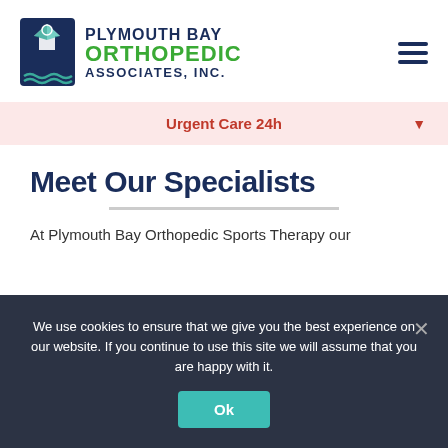[Figure (logo): Plymouth Bay Orthopedic Associates, Inc. logo with geometric human figure icon in navy and teal]
Urgent Care 24h
Meet Our Specialists
At Plymouth Bay Orthopedic Sports Therapy our
We use cookies to ensure that we give you the best experience on our website. If you continue to use this site we will assume that you are happy with it.
Ok